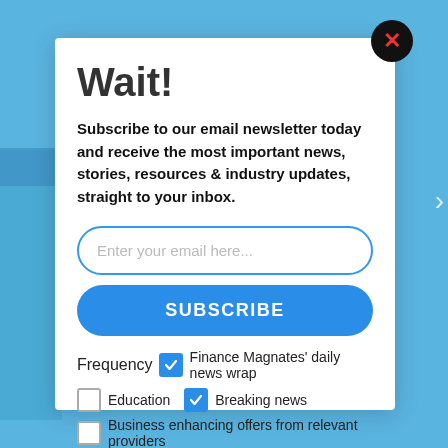Wait!
Subscribe to our email newsletter today and receive the most important news, stories, resources & industry updates, straight to your inbox.
Enter your email here...
SUBSCRIBE
Frequency  Finance Magnates' daily news wrap
Education  Breaking news
Business enhancing offers from relevant providers